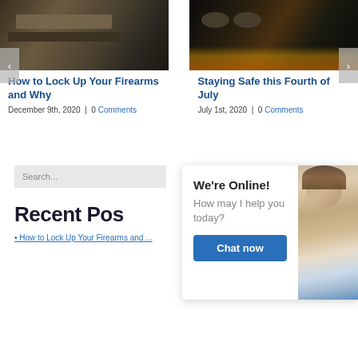[Figure (photo): Photo of firearms/gun case on left card]
How to Lock Up Your Firearms and Why
December 9th, 2020  |  0 Comments
[Figure (photo): Photo of burgers on grill for Fourth of July article]
Staying Safe this Fourth of July
July 1st, 2020  |  0 Comments
Search...
Recent Po...
[Figure (screenshot): Chat widget overlay showing We're Online! How may I help you today? with Chat now button and photo of customer service agent with headset]